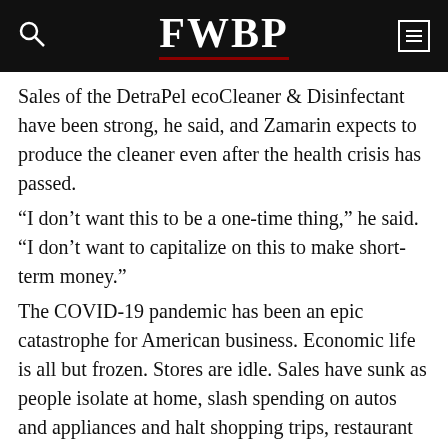FWBP
Sales of the DetraPel ecoCleaner & Disinfectant have been strong, he said, and Zamarin expects to produce the cleaner even after the health crisis has passed.
“I don’t want this to be a one-time thing,” he said. “I don’t want to capitalize on this to make short-term money.”
The COVID-19 pandemic has been an epic catastrophe for American business. Economic life is all but frozen. Stores are idle. Sales have sunk as people isolate at home, slash spending on autos and appliances and halt shopping trips, restaurant meals and movie outings.
Many iconic retailers are reeling. Gap warns it may run out of cash. Neiman Marcus and J.C. Penney